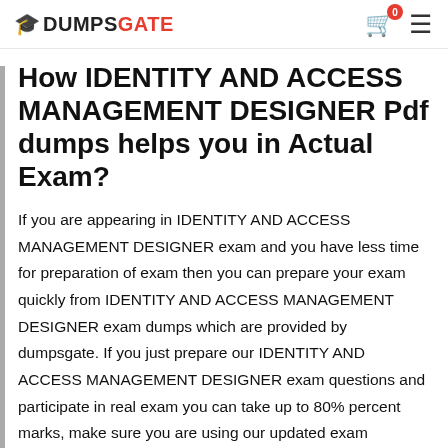DUMPSGATE
How IDENTITY AND ACCESS MANAGEMENT DESIGNER Pdf dumps helps you in Actual Exam?
If you are appearing in IDENTITY AND ACCESS MANAGEMENT DESIGNER exam and you have less time for preparation of exam then you can prepare your exam quickly from IDENTITY AND ACCESS MANAGEMENT DESIGNER exam dumps which are provided by dumpsgate. If you just prepare our IDENTITY AND ACCESS MANAGEMENT DESIGNER exam questions and participate in real exam you can take up to 80% percent marks, make sure you are using our updated exam material. A lot of students and IT